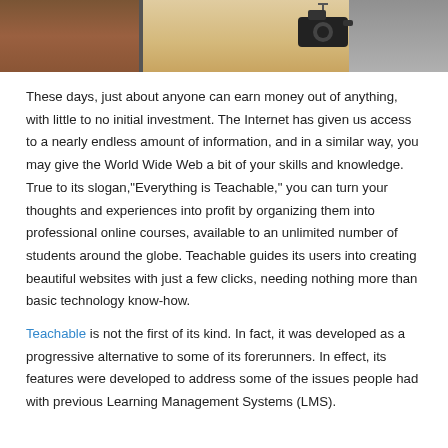[Figure (photo): Partial photo showing a wooden table surface, brick wall background, camera equipment, and a person in a grey shirt — a video/course creation setup.]
These days, just about anyone can earn money out of anything, with little to no initial investment. The Internet has given us access to a nearly endless amount of information, and in a similar way, you may give the World Wide Web a bit of your skills and knowledge. True to its slogan,"Everything is Teachable," you can turn your thoughts and experiences into profit by organizing them into professional online courses, available to an unlimited number of students around the globe. Teachable guides its users into creating beautiful websites with just a few clicks, needing nothing more than basic technology know-how.
Teachable is not the first of its kind. In fact, it was developed as a progressive alternative to some of its forerunners. In effect, its features were developed to address some of the issues people had with previous Learning Management Systems (LMS).